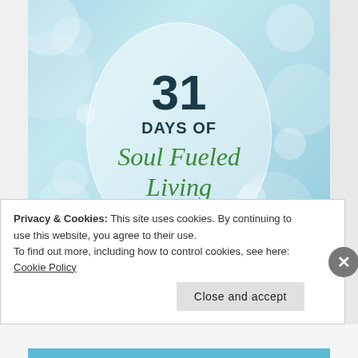[Figure (illustration): Book cover for '31 Days of Soul Fueled Living' by Jodi Heisz. Light blue bokeh background with a translucent white circle in the center containing the title text. The number '31' is displayed in large bold dark navy font, followed by 'DAYS OF' in bold dark text, then 'Soul Fueled Living' in green italic script font. Author name 'jodi heisz' appears at the bottom in italic with a small teal butterfly icon.]
Privacy & Cookies: This site uses cookies. By continuing to use this website, you agree to their use.
To find out more, including how to control cookies, see here: Cookie Policy
Close and accept